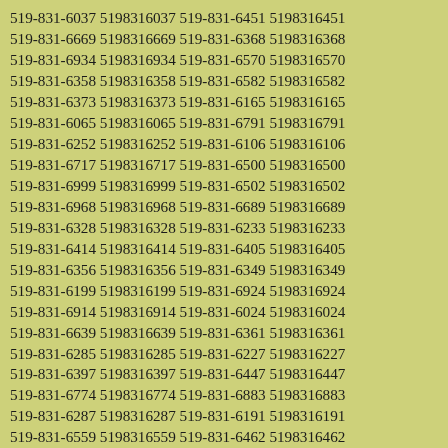519-831-6037 5198316037 519-831-6451 5198316451
519-831-6669 5198316669 519-831-6368 5198316368
519-831-6934 5198316934 519-831-6570 5198316570
519-831-6358 5198316358 519-831-6582 5198316582
519-831-6373 5198316373 519-831-6165 5198316165
519-831-6065 5198316065 519-831-6791 5198316791
519-831-6252 5198316252 519-831-6106 5198316106
519-831-6717 5198316717 519-831-6500 5198316500
519-831-6999 5198316999 519-831-6502 5198316502
519-831-6968 5198316968 519-831-6689 5198316689
519-831-6328 5198316328 519-831-6233 5198316233
519-831-6414 5198316414 519-831-6405 5198316405
519-831-6356 5198316356 519-831-6349 5198316349
519-831-6199 5198316199 519-831-6924 5198316924
519-831-6914 5198316914 519-831-6024 5198316024
519-831-6639 5198316639 519-831-6361 5198316361
519-831-6285 5198316285 519-831-6227 5198316227
519-831-6397 5198316397 519-831-6447 5198316447
519-831-6774 5198316774 519-831-6883 5198316883
519-831-6287 5198316287 519-831-6191 5198316191
519-831-6559 5198316559 519-831-6462 5198316462
519-831-6188 5198316188 519-831-6266 5198316266
519-831-6203 5198316203 519-831-6353 5198316353
519-831-6482 5198316482 519-831-6504 5198316504
519-831-6528 5198316528 519-831-6228 5198316228